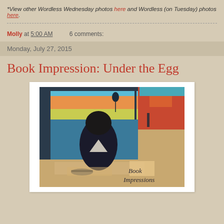*View other Wordless Wednesday photos here and Wordless (on Tuesday) photos here.
Molly at 5:00 AM    6 comments:
Monday, July 27, 2015
Book Impression: Under the Egg
[Figure (illustration): Book cover artwork for 'Under the Egg' showing a painted scene with a figure with dark hair viewed from behind, sitting at a table near a window with colorful landscape outside. Text 'Book Impressions' in cursive overlaid on lower right.]